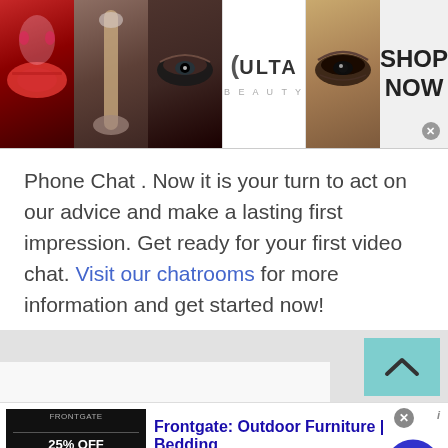[Figure (photo): Banner advertisement for Ulta Beauty showing makeup photos (lips, brush, eye), Ulta Beauty logo, close-up eye photo, and 'SHOP NOW' call to action button]
Phone Chat . Now it is your turn to act on our advice and make a lasting first impression. Get ready for your first video chat. Visit our chatrooms for more information and get started now!
[Figure (screenshot): Gray section with teal scroll-up button showing upward chevron arrow, and white bar area below]
[Figure (photo): Frontgate advertisement: Frontgate: Outdoor Furniture | Bedding. 25% off site wide sale going on now at Frontgate.com. frontgate.com. Shows a dark image with '25% OFF SITEWIDE' text and countdown timer. Blue circle arrow button on right.]